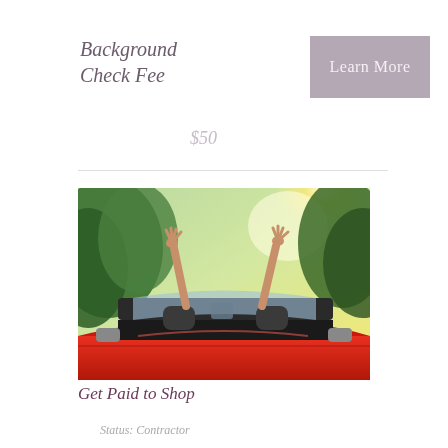Background Check Fee
Learn More
$50
[Figure (photo): Person in a red convertible car with arms raised in celebration, driving on a tree-lined road with sunlight shining through]
Get Paid to Shop
Status: Contractor